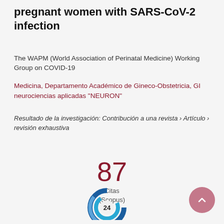pregnant women with SARS-CoV-2 infection
The WAPM (World Association of Perinatal Medicine) Working Group on COVID-19
Medicina, Departamento Académico de Gineco-Obstetricia, GI neurociencias aplicadas "NEURON"
Resultado de la investigación: Contribución a una revista › Artículo › revisión exhaustiva
87 Citas (Scopus)
[Figure (other): Donut/ring chart partially visible at bottom center showing the number 24, with blue concentric ring design]